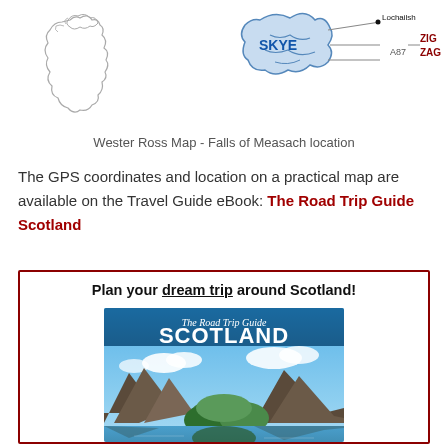[Figure (map): Wester Ross map showing Falls of Measach location, with outline of Great Britain on left, and a sketch map showing Skye, Lochailsh, A87, and Zig Zag label]
Wester Ross Map - Falls of Measach location
The GPS coordinates and location on a practical map are available on the Travel Guide eBook: The Road Trip Guide Scotland
Plan your dream trip around Scotland!
[Figure (illustration): Book cover of 'The Road Trip Guide SCOTLAND' showing a scenic Scottish landscape with mountains, a loch, and blue sky with clouds]